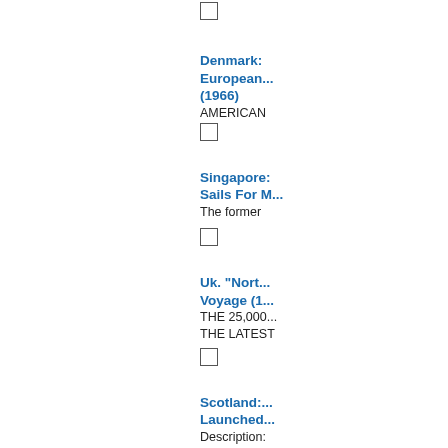☐ (checkbox)
Denmark: European... (1966)
AMERICAN
☐
Singapore: Sails For M...
The former
☐
Uk. "North... Voyage (1...
THE 25,000...
THE LATEST
☐
Scotland:... Launched...
Description: